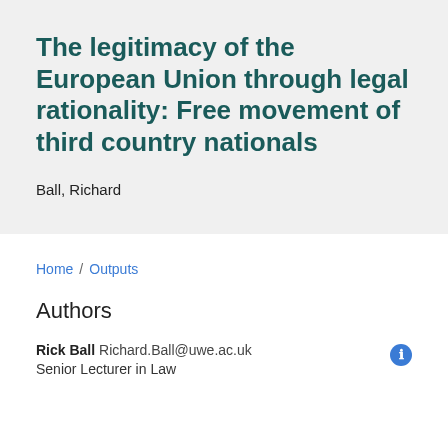The legitimacy of the European Union through legal rationality: Free movement of third country nationals
Ball, Richard
Home / Outputs
Authors
Rick Ball Richard.Ball@uwe.ac.uk
Senior Lecturer in Law